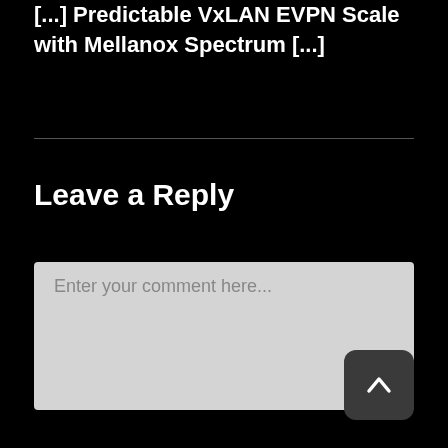[...] Predictable VxLAN EVPN Scale with Mellanox Spectrum [...]
Leave a Reply
Enter your comment here...
[Figure (other): Scroll to top button with upward chevron arrow]